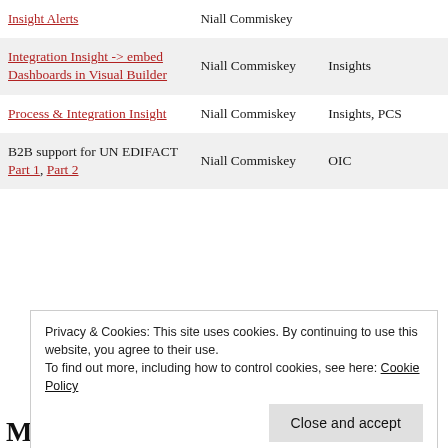| Article | Author | Category |
| --- | --- | --- |
| Insight Alerts | Niall Commiskey |  |
| Integration Insight -> embed Dashboards in Visual Builder | Niall Commiskey | Insights |
| Process & Integration Insight | Niall Commiskey | Insights, PCS |
| B2B support for UN EDIFACT Part 1, Part 2 | Niall Commiskey | OIC |
Privacy & Cookies: This site uses cookies. By continuing to use this website, you agree to their use.
To find out more, including how to control cookies, see here: Cookie Policy
March 29 – New OIC Articles